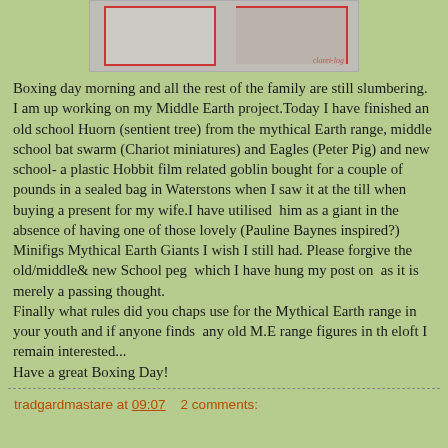[Figure (photo): Partial photograph of miniature figures or terrain, cut off at top of page]
Boxing day morning and all the rest of the family are still slumbering. I am up working on my Middle Earth project.Today I have finished an old school Huorn (sentient tree) from the mythical Earth range, middle school bat swarm (Chariot miniatures) and Eagles (Peter Pig) and new school- a plastic Hobbit film related goblin bought for a couple of pounds in a sealed bag in Waterstons when I saw it at the till when buying a present for my wife.I have utilised  him as a giant in the absence of having one of those lovely (Pauline Baynes inspired?) Minifigs Mythical Earth Giants I wish I still had. Please forgive the old/middle& new School peg  which I have hung my post on  as it is merely a passing thought.
Finally what rules did you chaps use for the Mythical Earth range in your youth and if anyone finds  any old M.E range figures in th eloft I remain interested...
Have a great Boxing Day!
tradgardmastare at 09:07    2 comments: